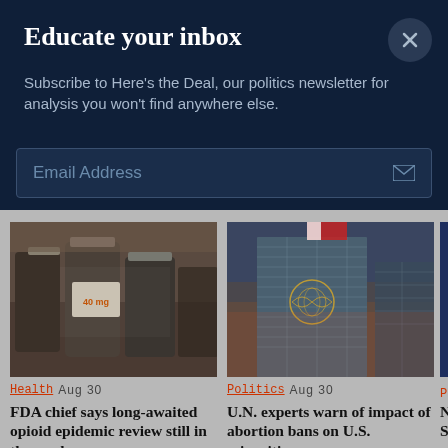Educate your inbox
Subscribe to Here's the Deal, our politics newsletter for analysis you won't find anywhere else.
Email Address
[Figure (photo): Photo of prescription pill bottles (opioid medication) in a pharmacy]
Health  Aug 30
FDA chief says long-awaited opioid epidemic review still in the works
[Figure (photo): Photo of the United Nations headquarters building at dusk/sunset]
Politics  Aug 30
U.N. experts warn of impact of abortion bans on U.S. minorities
P